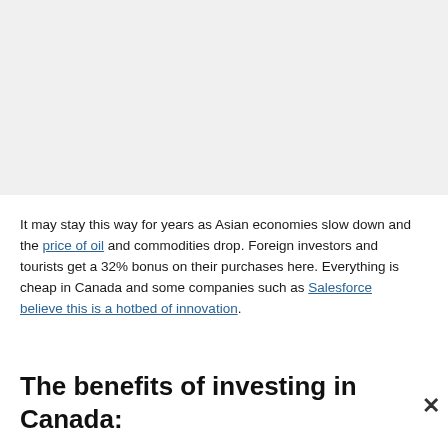It may stay this way for years as Asian economies slow down and the price of oil and commodities drop. Foreign investors and tourists get a 32% bonus on their purchases here. Everything is cheap in Canada and some companies such as Salesforce believe this is a hotbed of innovation.
The benefits of investing in Canada:
Reality: greatest potential for growth
Friendly and agreeable: Canada is the best country in